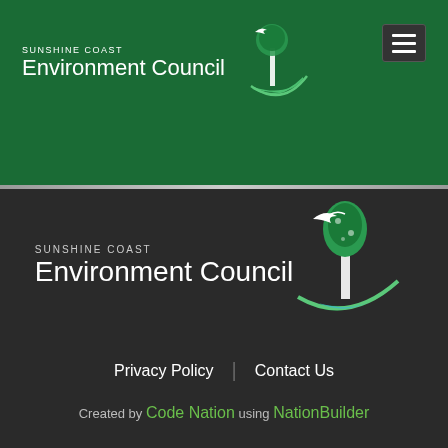[Figure (logo): Sunshine Coast Environment Council logo in white text on green header bar, with tree and bird icon]
[Figure (logo): Sunshine Coast Environment Council logo (large version) on dark footer background, with green tree, bird, and swoosh graphic]
Privacy Policy | Contact Us
Created by Code Nation using NationBuilder
[Figure (logo): Registered Charity badge/seal at bottom of page]